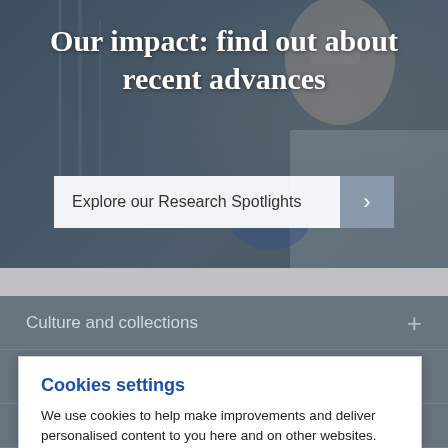[Figure (photo): Background photo of a scientist in a laboratory wearing blue gloves and hijab, working with laboratory equipment. Dark blue overlay applied over the photo.]
Our impact: find out about recent advances
Explore our Research Spotlights
Culture and collections
Schools, institutes and departments
Services and facilities
Cookies settings
We use cookies to help make improvements and deliver personalised content to you here and on other websites.